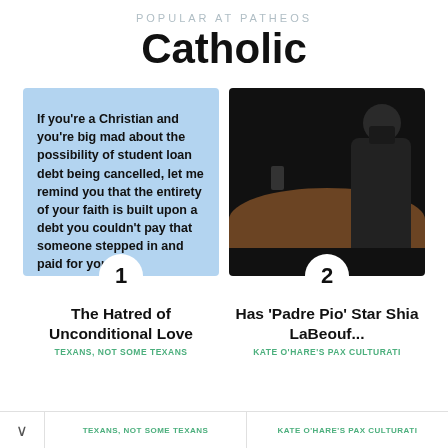POPULAR AT PATHEOS
Catholic
If you're a Christian and you're big mad about the possibility of student loan debt being cancelled, let me remind you that the entirety of your faith is built upon a debt you couldn't pay that someone stepped in and paid for you.
[Figure (photo): Dark photo of a man sitting at a curved wooden table in a dark room with two glasses on the table]
The Hatred of Unconditional Love
Has 'Padre Pio' Star Shia LaBeouf...
TEXANS, NOT SOME TEXANS   KATE O'HARE'S PAX CULTURATI